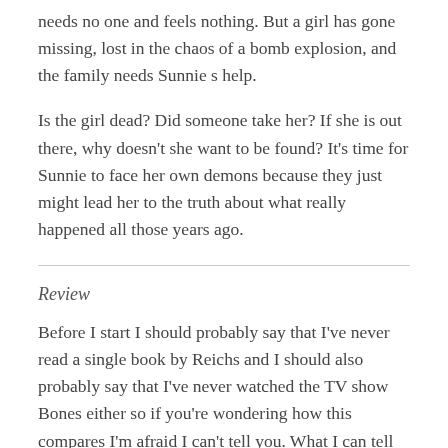needs no one and feels nothing. But a girl has gone missing, lost in the chaos of a bomb explosion, and the family needs Sunnie s help.
Is the girl dead? Did someone take her? If she is out there, why doesn't she want to be found? It's time for Sunnie to face her own demons because they just might lead her to the truth about what really happened all those years ago.
Review
Before I start I should probably say that I've never read a single book by Reichs and I should also probably say that I've never watched the TV show Bones either so if you're wondering how this compares I'm afraid I can't tell you. What I can tell